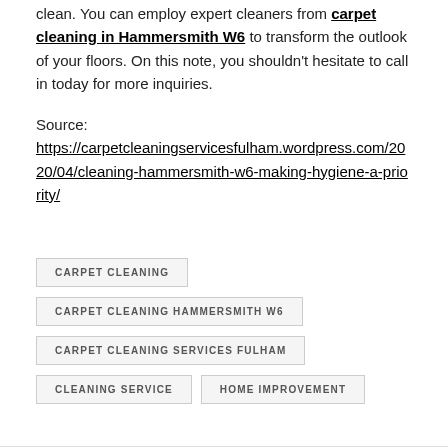clean. You can employ expert cleaners from carpet cleaning in Hammersmith W6 to transform the outlook of your floors. On this note, you shouldn't hesitate to call in today for more inquiries.
Source: https://carpetcleaningservicesfulham.wordpress.com/2020/04/cleaning-hammersmith-w6-making-hygiene-a-priority/
CARPET CLEANING
CARPET CLEANING HAMMERSMITH W6
CARPET CLEANING SERVICES FULHAM
CLEANING SERVICE
HOME IMPROVEMENT